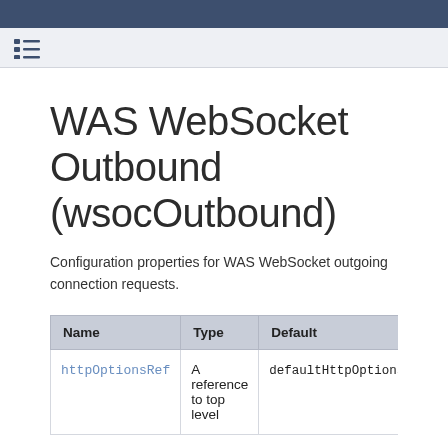WAS WebSocket Outbound (wsocOutbound)
Configuration properties for WAS WebSocket outgoing connection requests.
| Name | Type | Default | Description |
| --- | --- | --- | --- |
| httpOptionsRef | A reference to top level | defaultHttpOptions | HTTP option |